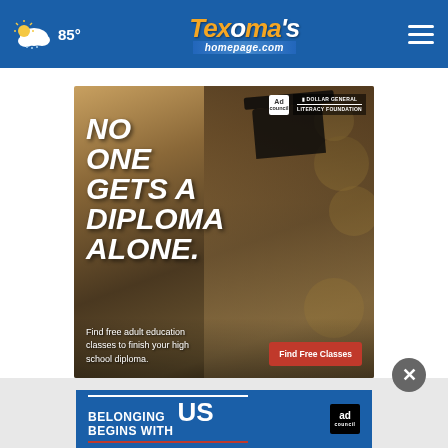85° | Texoma's homepage.com
[Figure (photo): Advertisement: 'NO ONE GETS A DIPLOMA ALONE.' featuring a man wearing a graduation cap, with Ad Council and Dollar General Literacy Foundation logos. Text: 'Find free adult education classes to finish your high school diploma.' with a red 'Find Free Classes' button.]
[Figure (photo): Ad Council banner advertisement: 'BELONGING BEGINS WITH US' with red underline and Ad Council logo on dark blue background.]